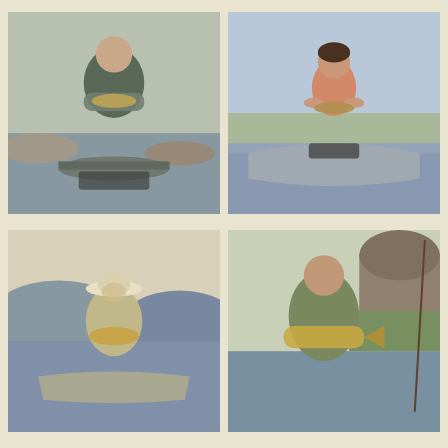[Figure (photo): Person holding a fish in a boat on a river, rocky shoreline visible]
[Figure (photo): Young person in pink jacket holding a fish in a canoe on a river]
[Figure (photo): Person in sun hat holding a fish while in a boat on a river with hazy sky]
[Figure (photo): Man in camo jacket holding a large fish standing in a river with rocky cliffs in background]
[Figure (photo): Woman in white hat holding a fish in a drift boat on a river]
[Figure (photo): Older man holding a brown trout on a river bank with Back to top button overlay]
[Figure (photo): Partial view of river landscape - bottom row left]
[Figure (photo): Partial view of river landscape with trees - bottom row right]